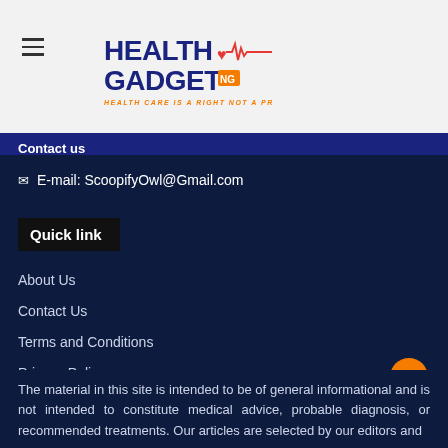[Figure (logo): HealthGadget NG logo with tagline 'Health Care Is A Right Not A Privilege']
Contact us
E-mail: ScoopifyOwl@Gmail.com
Quick link
About Us
Contact Us
Terms and Conditions
Privacy Policy
The material in this site is intended to be of general informational and is not intended to constitute medical advice, probable diagnosis, or recommended treatments. Our articles are selected by our editors and